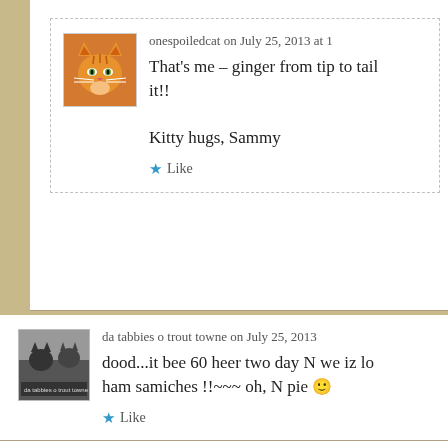onespoiledcat on July 25, 2013 at 1...
That's me – ginger from tip to tail... it!!

Kitty hugs, Sammy
Like
[Figure (photo): Orange/ginger cat avatar photo]
da tabbies o trout towne on July 25, 2013...
dood...it bee 60 heer two day N we iz lo... ham samiches !!--- oh, N pie 🙂
Like
[Figure (photo): Black and white cats avatar photo]